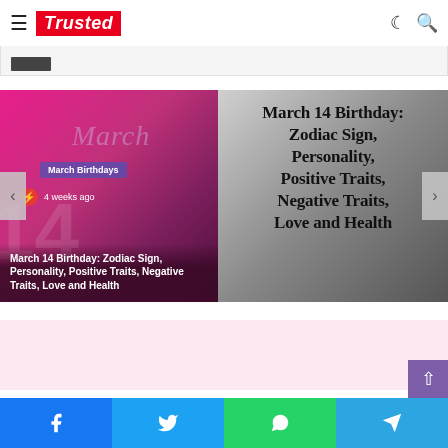Trusted
[Figure (screenshot): Website screenshot showing 'Trusted' logo with hamburger menu, dark mode and search icons in header]
[Figure (screenshot): Article slider showing 'March 14 Birthday: Zodiac Sign, Personality, Positive Traits, Negative Traits, Love and Health' with pink/magenta gradient left panel showing 'March Birthdays' tag, '4 weeks ago' timestamp, and right gray panel showing article title text]
[Figure (screenshot): Pink section at bottom, scroll-to-top purple button, and social share bar with Facebook, Twitter, WhatsApp, Telegram buttons]